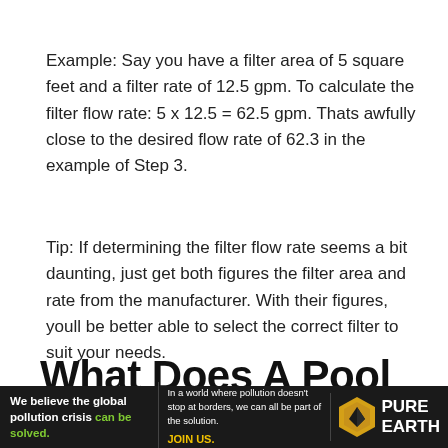Example: Say you have a filter area of 5 square feet and a filter rate of 12.5 gpm. To calculate the filter flow rate: 5 x 12.5 = 62.5 gpm. Thats awfully close to the desired flow rate of 62.3 in the example of Step 3.
Tip: If determining the filter flow rate seems a bit daunting, just get both figures the filter area and rate from the manufacturer. With their figures, youll be better able to select the correct filter to suit your needs.
What Does A Pool Filter's Effective Filtration Area Mean
[Figure (infographic): Advertisement banner for Pure Earth organization. Black background with text: 'We believe the global pollution crisis can be solved.' (green highlight on 'can be solved'), 'In a world where pollution doesn't stop at borders, we can all be part of the solution. JOIN US.' and Pure Earth logo with diamond/leaf icon.]